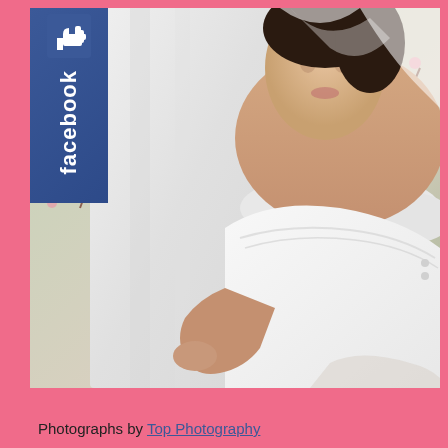[Figure (photo): Wedding photo showing a bride in a white strapless dress with a veil, embracing a groom in a white suit. Cherry blossom branches visible in the background. A Facebook 'like' badge overlays the top-left corner of the image.]
Photographs by Top Photography